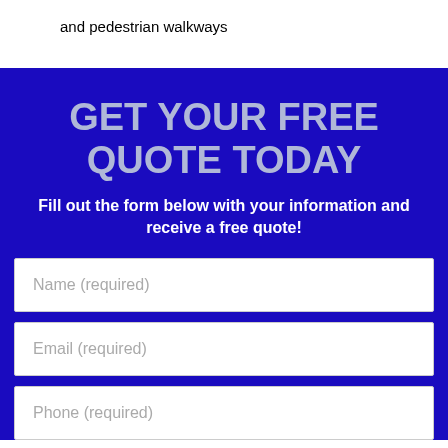and pedestrian walkways
GET YOUR FREE QUOTE TODAY
Fill out the form below with your information and receive a free quote!
Name (required)
Email (required)
Phone (required)